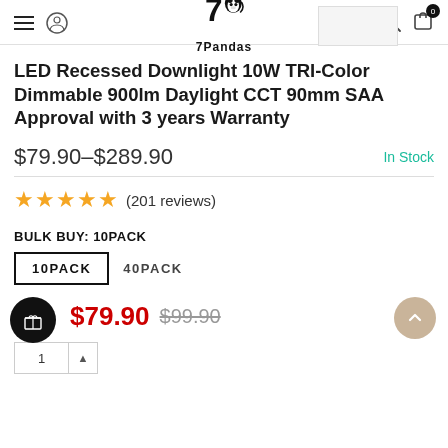7Pandas
LED Recessed Downlight 10W TRI-Color Dimmable 900lm Daylight CCT 90mm SAA Approval with 3 years Warranty
$79.90–$289.90   In Stock
★★★★★ (201 reviews)
BULK BUY: 10PACK
10PACK   40PACK
$79.90  $99.90